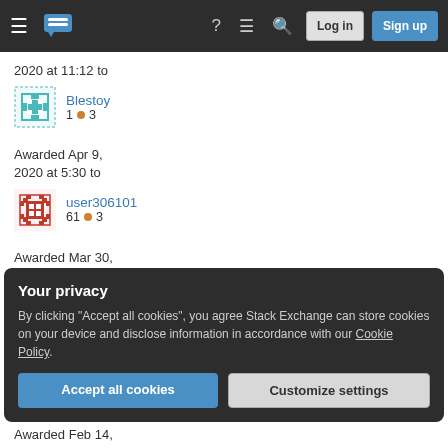Stack Exchange navigation bar with Log in and Sign up buttons
2020 at 11:12 to
Blestoy
1 • 3
Awarded Apr 9, 2020 at 5:30 to
user306101
61 • 3
Awarded Mar 30, 2020 at 13:35 to
axelniemeyer
Your privacy
By clicking "Accept all cookies", you agree Stack Exchange can store cookies on your device and disclose information in accordance with our Cookie Policy.
Awarded Feb 14,